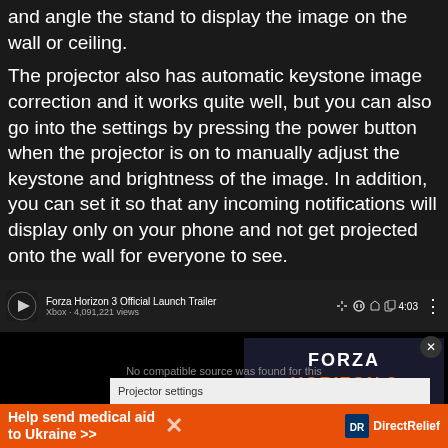and angle the stand to display the image on the wall or ceiling.
The projector also has automatic keystone image correction and it works quite well, but you can also go into the settings by pressing the power button when the projector is on to manually adjust the keystone and brightness of the image. In addition, you can set it so that any incoming notifications will display only on your phone and not get projected onto the wall for everyone to see.
[Figure (screenshot): YouTube app screenshot showing Forza Horizon 3 Official Launch Trailer video by Xbox with 4,091,221 views, a 'No compatible source was found for this media' error overlay, and a Projector settings dialog partially visible. An orange DirectRelief donation banner ad is shown at the bottom.]